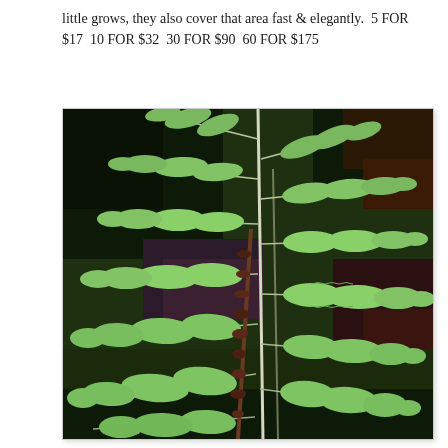little grows, they also cover that area fast & elegantly.  5 FOR $17  10 FOR $32  30 FOR $90  60 FOR $175
[Figure (photo): Close-up photograph of fern fronds with light green pinnate leaves against a dark background, with a brown fertile frond visible in the center.]